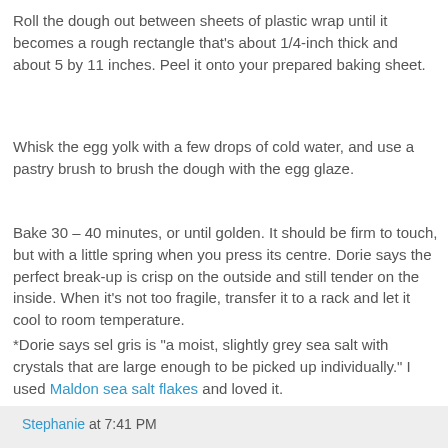Roll the dough out between sheets of plastic wrap until it becomes a rough rectangle that's about 1/4-inch thick and about 5 by 11 inches. Peel it onto your prepared baking sheet.
Whisk the egg yolk with a few drops of cold water, and use a pastry brush to brush the dough with the egg glaze.
Bake 30 – 40 minutes, or until golden. It should be firm to touch, but with a little spring when you press its centre. Dorie says the perfect break-up is crisp on the outside and still tender on the inside. When it's not too fragile, transfer it to a rack and let it cool to room temperature.
*Dorie says sel gris is "a moist, slightly grey sea salt with crystals that are large enough to be picked up individually." I used Maldon sea salt flakes and loved it.
Stephanie at 7:41 PM